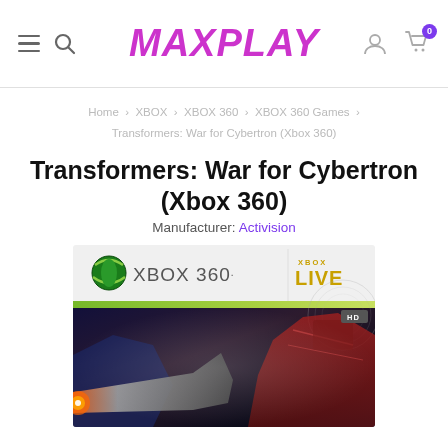MAXPLAY
Home > XBOX > XBOX 360 > XBOX 360 Games > Transformers: War for Cybertron (Xbox 360)
Transformers: War for Cybertron (Xbox 360)
Manufacturer: Activision
[Figure (photo): Xbox 360 game box art for Transformers: War for Cybertron, showing the Xbox 360 logo and Xbox Live branding at the top, with a green stripe below, and game artwork featuring a Transformer robot holding a large weapon against a dark background.]